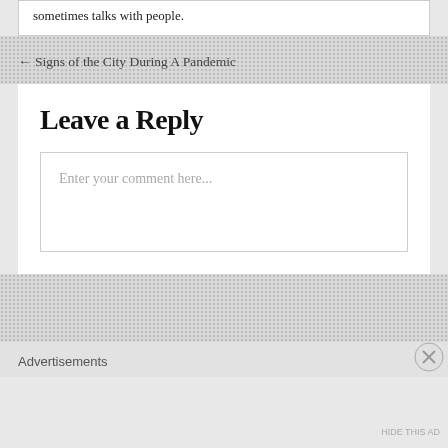sometimes talks with people.
← Signs of the City During A Pandemic
Leave a Reply
Enter your comment here...
Advertisements
HIDE THIS AD